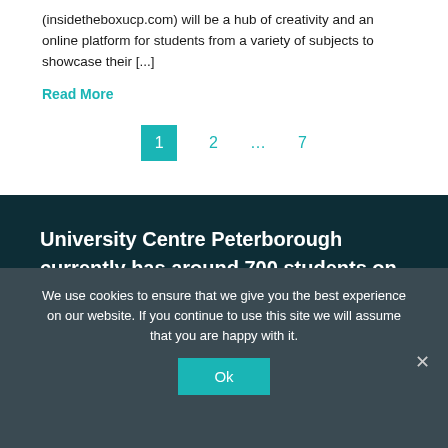(insidetheboxucp.com) will be a hub of creativity and an online platform for students from a variety of subjects to showcase their [...]
Read More
1  2  …  7
University Centre Peterborough currently has around 700 students on over 30 different degree level programmes.
We use cookies to ensure that we give you the best experience on our website. If you continue to use this site we will assume that you are happy with it.
Ok